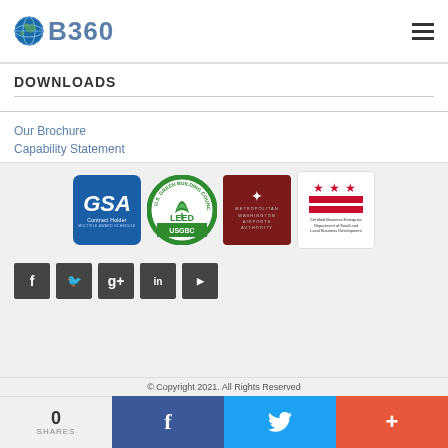[Figure (logo): B360 logo with globe icon and text B360 in blue/gray]
DOWNLOADS
Our Brochure
Capability Statement
[Figure (logo): Four certification/affiliation badges: GSA Contract Holder, U.S. Green Building Council LEED USGBC, Metropolitan Washington Airports Authority, DC Certified Business Enterprise]
[Figure (infographic): Social media icon buttons: Facebook, Twitter, Google+, LinkedIn, YouTube]
© Copyright 2021. All Rights Reserved
0
SHARES
[Figure (infographic): Bottom share bar: Facebook (blue), Twitter (light blue), Plus/share (red-orange)]